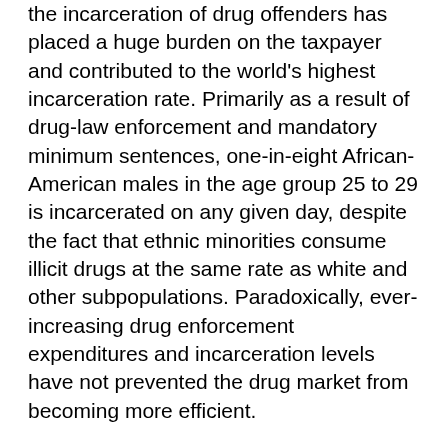the incarceration of drug offenders has placed a huge burden on the taxpayer and contributed to the world's highest incarceration rate. Primarily as a result of drug-law enforcement and mandatory minimum sentences, one-in-eight African-American males in the age group 25 to 29 is incarcerated on any given day, despite the fact that ethnic minorities consume illicit drugs at the same rate as white and other subpopulations. Paradoxically, ever-increasing drug enforcement expenditures and incarceration levels have not prevented the drug market from becoming more efficient.
The association between drug prohibition and increased inner-city violence is consistent. A recent international example is the upsurge in severe drug-related violence in Mexico subsequent to Mexican President Felipe Calderon's escalation in the fight against Mexican drug traffickers. Increasing gun violence in Canadian cities has been directly linked to clashes between organized crime groups over the enormous